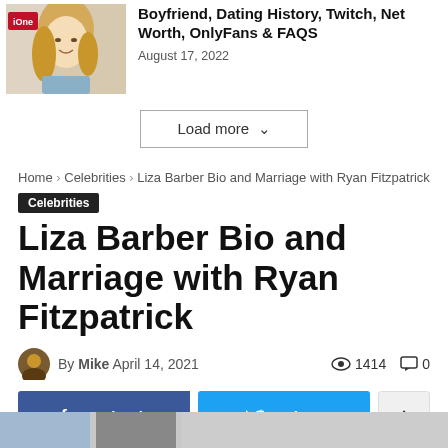[Figure (photo): Blonde woman smiling at event with iHeartRadio logo visible in background]
Boyfriend, Dating History, Twitch, Net Worth, OnlyFans & FAQS
August 17, 2022
Load more
Home › Celebrities › Liza Barber Bio and Marriage with Ryan Fitzpatrick
Celebrities
Liza Barber Bio and Marriage with Ryan Fitzpatrick
By Mike April 14, 2021
1414   0
Facebook
Twitter
[Figure (photo): Partial bottom strip showing two small photos cropped at page bottom]